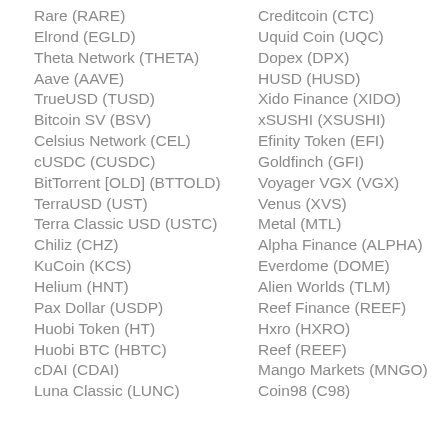Rare (RARE)
Creditcoin (CTC)
Elrond (EGLD)
Uquid Coin (UQC)
Theta Network (THETA)
Dopex (DPX)
Aave (AAVE)
HUSD (HUSD)
TrueUSD (TUSD)
Xido Finance (XIDO)
Bitcoin SV (BSV)
xSUSHI (XSUSHI)
Celsius Network (CEL)
Efinity Token (EFI)
cUSDC (CUSDC)
Goldfinch (GFI)
BitTorrent [OLD] (BTTOLD)
Voyager VGX (VGX)
TerraUSD (UST)
Venus (XVS)
Terra Classic USD (USTC)
Metal (MTL)
Chiliz (CHZ)
Alpha Finance (ALPHA)
KuCoin (KCS)
Everdome (DOME)
Helium (HNT)
Alien Worlds (TLM)
Pax Dollar (USDP)
Reef Finance (REEF)
Huobi Token (HT)
Hxro (HXRO)
Huobi BTC (HBTC)
Reef (REEF)
cDAI (CDAI)
Mango Markets (MNGO)
Luna Classic (LUNC)
Coin98 (C98)